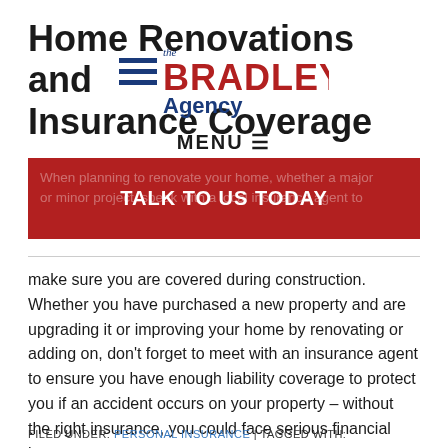Home Renovations and Insurance Coverage
[Figure (logo): The Bradley Agency logo with horizontal lines, red BRADLEY text and blue Agency text, overlaid on title]
MENU
When planning to renovate your home, whether a major or minor project, speak with a local insurance agent to make sure you are covered during construction. Whether you have purchased a new property and are upgrading it or improving your home by renovating or adding on, don't forget to meet with an insurance agent to ensure you have enough liability coverage to protect you if an accident occurs on your property – without the right insurance, you could face serious financial losses.
FILED UNDER: PERSONAL INSURANCE | TAGGED WITH: